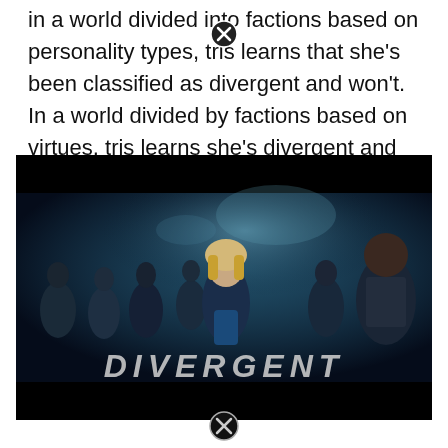In a world divided into factions based on personality types, tris learns that she's been classified as divergent and won't. In a world divided by factions based on virtues, tris learns she's divergent and won't fit in.
[Figure (photo): Movie still from Divergent showing a group of characters walking forward with the word DIVERGENT displayed at the bottom of the image. A blonde woman in the center foreground, multiple other characters behind her.]